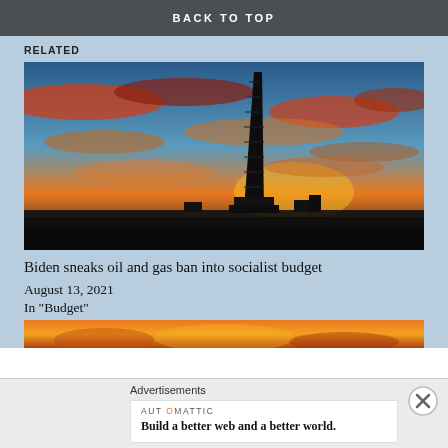BACK TO TOP
RELATED
[Figure (photo): Oil and gas drilling rig silhouetted against a vivid orange, red, and blue sunset sky with dramatic clouds]
Biden sneaks oil and gas ban into socialist budget
August 13, 2021
In "Budget"
[Figure (photo): Partial view of another article thumbnail showing orange/sunset colors at the bottom]
Advertisements
AUTOMATTIC
Build a better web and a better world.